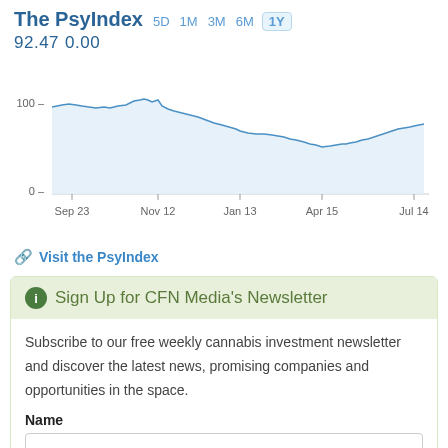[Figure (line-chart): Line chart of The PsyIndex over 1Y period showing value around 92.47 with 0.00 change. Chart shows decline from ~108 in Sep 23, peak ~114 around Nov 12, then decline to ~88 around Apr 15, recovering to ~105 by Jul 14.]
Visit the PsyIndex
Sign Up for CFN Media's Newsletter
Subscribe to our free weekly cannabis investment newsletter and discover the latest news, promising companies and opportunities in the space.
Name